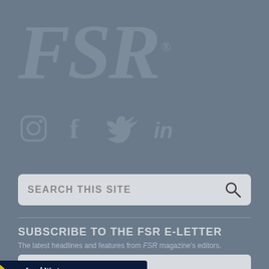[Figure (logo): FSR magazine logo in large italic serif font with registered trademark symbol, displayed in muted gray color on darker gray background]
[Figure (infographic): Social media icons row: Instagram, Facebook, Twitter, LinkedIn icons in muted gray]
SEARCH THIS SITE
SUBSCRIBE TO THE FSR E-LETTER
The latest headlines and features from FSR magazine's editors.
Your Email Address
Zip Code
[Figure (photo): LambWeston Potato Perks app advertisement: dark navy background with potato character illustration, text 'The all-new Potato Perks app', 'Earn points. Redeem for perks.', orange Download app button, LambWeston logo]